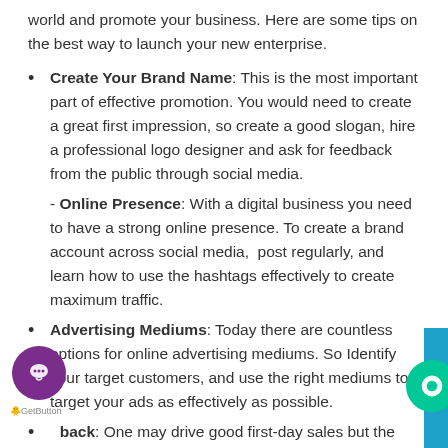world and promote your business. Here are some tips on the best way to launch your new enterprise.
Create Your Brand Name: This is the most important part of effective promotion. You would need to create a great first impression, so create a good slogan, hire a professional logo designer and ask for feedback from the public through social media.
- Online Presence: With a digital business you need to have a strong online presence. To create a brand account across social media,  post regularly, and learn how to use the hashtags effectively to create maximum traffic.
Advertising Mediums: Today there are countless options for online advertising mediums. So Identify your target customers, and use the right mediums to target your ads as effectively as possible.
back: One may drive good first-day sales but the tricky part is to retain them in order to sustain your business. And best way to do this is through feedback. So try to engage with